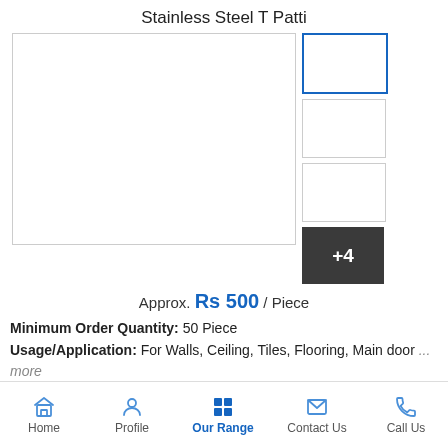Stainless Steel T Patti
[Figure (photo): Main product image placeholder (white box) with three thumbnail images on the right and a +4 overlay thumbnail indicating more images]
Approx. Rs 500 / Piece
Minimum Order Quantity: 50 Piece
Usage/Application: For Walls, Ceiling, Tiles, Flooring, Main door ... more
Home | Profile | Our Range | Contact Us | Call Us